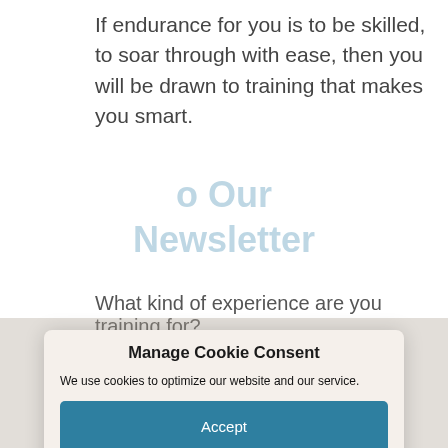If endurance for you is to be skilled, to soar through with ease, then you will be drawn to training that makes you smart.
What kind of experience are you training for?
Manage Cookie Consent
We use cookies to optimize our website and our service.
Accept
Deny
Preferences
Translate »
Privacy Policy